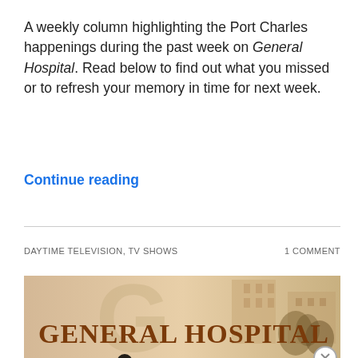A weekly column highlighting the Port Charles happenings during the past week on General Hospital. Read below to find out what you missed or to refresh your memory in time for next week.
Continue reading
DAYTIME TELEVISION, TV SHOWS   1 COMMENT
[Figure (photo): General Hospital TV show banner image showing the text 'GENERAL HOSPITAL' in large serif letters over a sepia-toned background with a building and trees. ABC logo and 'WEEKDAYS' text visible at the bottom.]
Advertisements